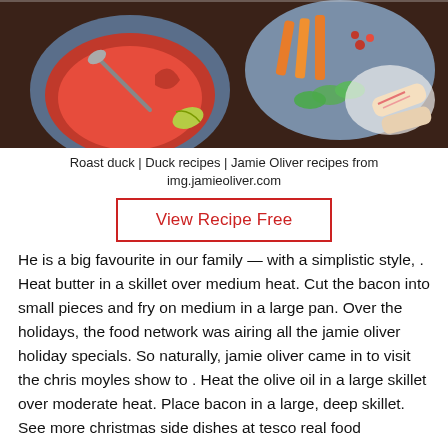[Figure (photo): Overhead view of food dishes including a blue bowl with red sauce, a platter with vegetable sticks and dips, and spring rolls on a dark background.]
Roast duck | Duck recipes | Jamie Oliver recipes from img.jamieoliver.com
View Recipe Free
He is a big favourite in our family — with a simplistic style, . Heat butter in a skillet over medium heat. Cut the bacon into small pieces and fry on medium in a large pan. Over the holidays, the food network was airing all the jamie oliver holiday specials. So naturally, jamie oliver came in to visit the chris moyles show to . Heat the olive oil in a large skillet over moderate heat. Place bacon in a large, deep skillet. See more christmas side dishes at tesco real food